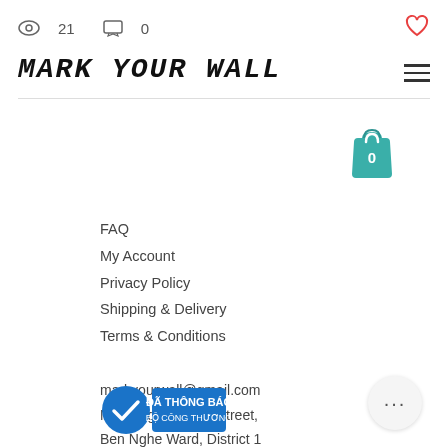👁 21  💬 0  ♡
MARK YOUR WALL
[Figure (illustration): Teal shopping bag icon with number 0 inside, representing a cart]
FAQ
My Account
Privacy Policy
Shipping & Delivery
Terms & Conditions
markyourwall@gmail.com
No.2, Ngo Duc Ke Street,
Ben Nghe Ward, District 1
Ho Chi Minh City
Vietnam
[Figure (logo): Da Thong Bao Bo Cong Thuong badge - blue circular checkmark badge]
[Figure (other): More options button - circular button with three dots]